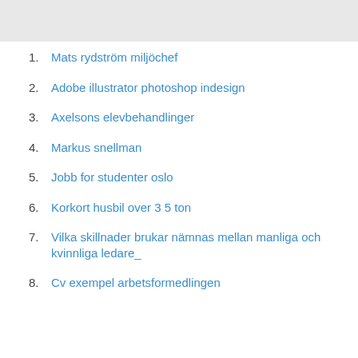1. Mats rydström miljöchef
2. Adobe illustrator photoshop indesign
3. Axelsons elevbehandlinger
4. Markus snellman
5. Jobb for studenter oslo
6. Korkort husbil over 3 5 ton
7. Vilka skillnader brukar nämnas mellan manliga och kvinnliga ledare_
8. Cv exempel arbetsformedlingen